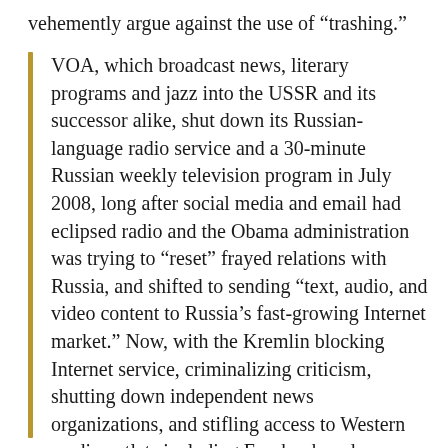vehemently argue against the use of “trashing.”
VOA, which broadcast news, literary programs and jazz into the USSR and its successor alike, shut down its Russian-language radio service and a 30-minute Russian weekly television program in July 2008, long after social media and email had eclipsed radio and the Obama administration was trying to “reset” frayed relations with Russia, and shifted to sending “text, audio, and video content to Russia’s fast-growing Internet market.” Now, with the Kremlin blocking Internet service, criminalizing criticism, shutting down independent news organizations, and stifling access to Western media outlets including Facebook and Instagram, it may be time to haul the old Wurlitzer out of storage and upgrade it with cutting edge software.